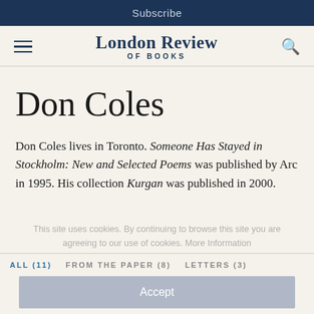Subscribe
[Figure (logo): London Review of Books logo with hamburger menu and search icon]
Don Coles
Don Coles lives in Toronto. Someone Has Stayed in Stockholm: New and Selected Poems was published by Arc in 1995. His collection Kurgan was published in 2000.
This site uses cookies. By continuing to browse this site you are agreeing to our use of cookies. More Information
ALL (11)   FROM THE PAPER (8)   LETTERS (3)
Accept